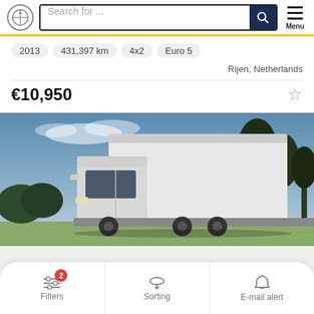Search for ...
2013  431,397 km  4x2  Euro 5
Rijen, Netherlands
€10,950
[Figure (photo): White box truck / rigid truck parked outdoors under blue sky with trees in background]
Filters  Sorting  E-mail alert